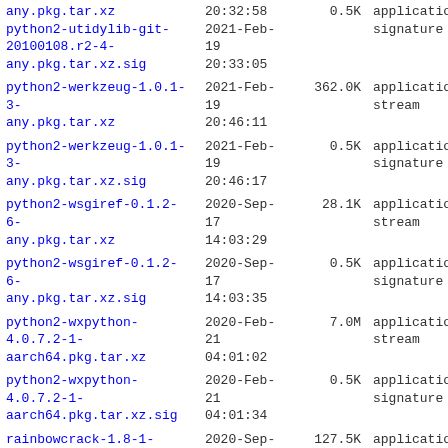| Name | Date | Size | Type |
| --- | --- | --- | --- |
| any.pkg.tar.xz python2-utidylib-git-20100108.r2-4-any.pkg.tar.xz.sig | 20:32:58 2021-Feb-19 20:33:05 | 0.5K | application/p signature |
| python2-werkzeug-1.0.1-3-any.pkg.tar.xz | 2021-Feb-19 20:46:11 | 362.0K | application/o stream |
| python2-werkzeug-1.0.1-3-any.pkg.tar.xz.sig | 2021-Feb-19 20:46:17 | 0.5K | application/p signature |
| python2-wsgiref-0.1.2-6-any.pkg.tar.xz | 2020-Sep-17 14:03:29 | 28.1K | application/o stream |
| python2-wsgiref-0.1.2-6-any.pkg.tar.xz.sig | 2020-Sep-17 14:03:35 | 0.5K | application/p signature |
| python2-wxpython-4.0.7.2-1-aarch64.pkg.tar.xz | 2020-Feb-21 04:01:02 | 7.0M | application/o stream |
| python2-wxpython-4.0.7.2-1-aarch64.pkg.tar.xz.sig | 2020-Feb-21 04:01:34 | 0.5K | application/p signature |
| rainbowcrack-1.8-1-aarch64.pkg.tar.xz | 2020-Sep-09 18:29:37 | 127.5K | application/o stream |
| rainbowcrack-1.8-1-aarch64.pkg.tar.xz.sig | 2020-Sep-09 18:29:39 | 0.5K | application/p signature |
| rbasefind-0.1.3-1-aarch64.pkg.tar.xz | 2021-May-17 03:07:20 | 458.2K | application/o stream |
| rbasefind-0.1.3-1-... | 2021-May- |  | application/... |